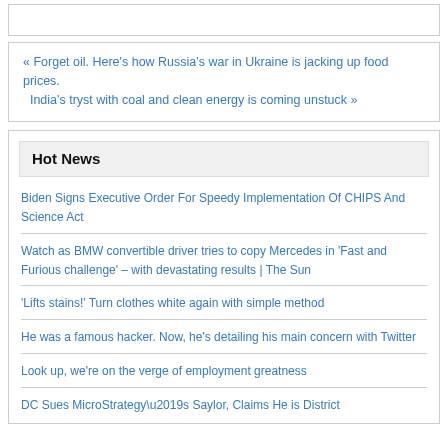« Forget oil. Here's how Russia's war in Ukraine is jacking up food prices.
India's tryst with coal and clean energy is coming unstuck »
Hot News
Biden Signs Executive Order For Speedy Implementation Of CHIPS And Science Act
Watch as BMW convertible driver tries to copy Mercedes in 'Fast and Furious challenge' – with devastating results | The Sun
'Lifts stains!' Turn clothes white again with simple method
He was a famous hacker. Now, he's detailing his main concern with Twitter
Look up, we're on the verge of employment greatness
DC Sues MicroStrategy\u2019s Saylor, Claims He is District